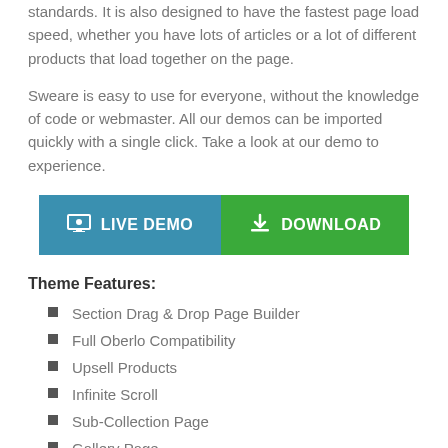standards. It is also designed to have the fastest page load speed, whether you have lots of articles or a lot of different products that load together on the page.
Sweare is easy to use for everyone, without the knowledge of code or webmaster. All our demos can be imported quickly with a single click. Take a look at our demo to experience.
[Figure (other): Two buttons: LIVE DEMO (blue) and DOWNLOAD (green)]
Theme Features:
Section Drag & Drop Page Builder
Full Oberlo Compatibility
Upsell Products
Infinite Scroll
Sub-Collection Page
Gallery Page
Dynamic Checkout Ready
The New standard…